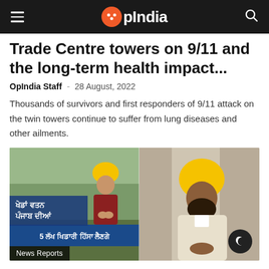OpIndia
Trade Centre towers on 9/11 and the long-term health impact...
OpIndia Staff · 28 August, 2022
Thousands of survivors and first responders of 9/11 attack on the twin towers continue to suffer from lung diseases and other ailments.
[Figure (photo): Composite image showing a man in yellow turban at a Punjabi sports event banner on the left, and the same or similar man in yellow turban and beige jacket on the right]
News Reports